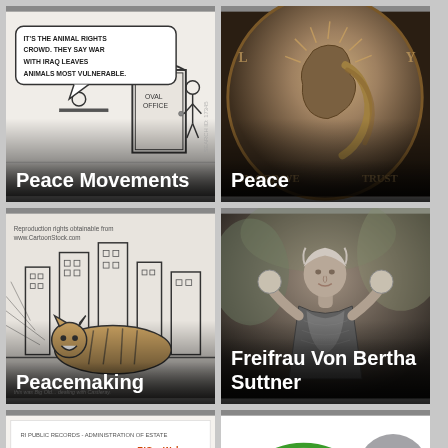[Figure (illustration): Political cartoon showing figures at an Oval Office door with speech bubble text about animal rights crowd and Iraq, black and white ink drawing]
Peace Movements
[Figure (photo): Close-up sepia/grayscale photo of a Peace Dollar coin showing Lady Liberty profile with text IN GOD WE TRUST]
Peace
[Figure (illustration): Cartoon of a tiger or large cat in a city street scene with skyscrapers, black and white. Text: Reproduction rights obtainable from www.CartoonStock.com]
Peacemaking
[Figure (photo): Black and white historical photo of Freifrau Von Bertha Suttner, an elderly woman holding objects, in outdoor setting]
Freifrau Von Bertha Suttner
[Figure (screenshot): Partial screenshot of a genealogy document from RIGenWeb showing family records with names and dates]
[Figure (illustration): Green peace symbol (circle with downward lines) on white background, partially visible, with a grey circle overlay containing a checkmark/back arrow icon and an X button]